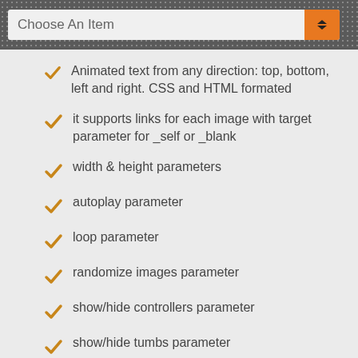Choose An Item
Animated text from any direction: top, bottom, left and right. CSS and HTML formated
it supports links for each image with target parameter for _self or _blank
width & height parameters
autoplay parameter
loop parameter
randomize images parameter
show/hide controllers parameter
show/hide tumbs parameter